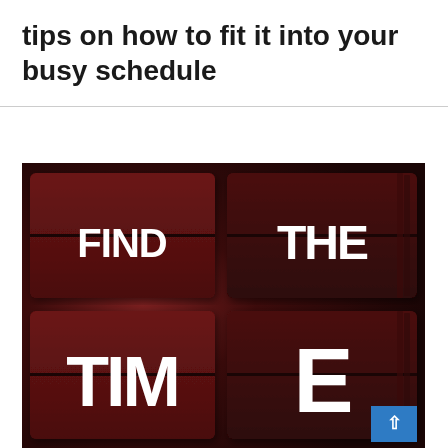tips on how to fit it into your busy schedule
[Figure (photo): A 3D flip board / split-flap display showing the text 'FIND THE TIME' split across dark red/maroon panels, with bold white letters. The word 'FIND' appears on the upper-left panel, 'THE' on the upper-right panel, and 'TIME' spans the lower panels. A blue scroll-to-top button is visible in the bottom-right corner.]